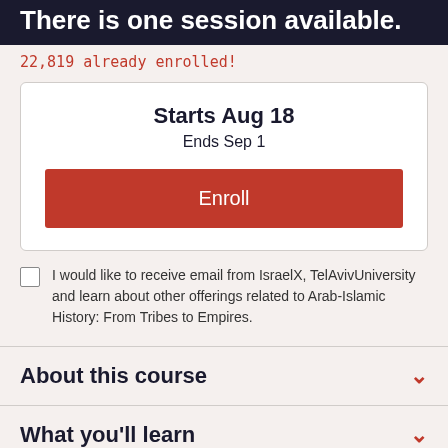There is one session available.
22,819 already enrolled!
Starts Aug 18
Ends Sep 1
Enroll
I would like to receive email from IsraelX, TelAvivUniversity and learn about other offerings related to Arab-Islamic History: From Tribes to Empires.
About this course
What you'll learn